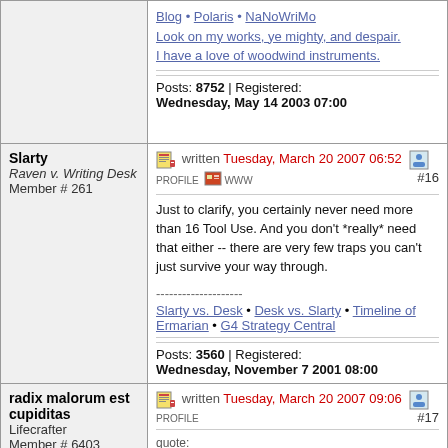Blog • Polaris • NaNoWriMo
Look on my works, ye mighty, and despair.
I have a love of woodwind instruments.
Posts: 8752 | Registered: Wednesday, May 14 2003 07:00
Slarty
Raven v. Writing Desk
Member # 261
written Tuesday, March 20 2007 06:52  PROFILE  WWW  #16
Just to clarify, you certainly never need more than 16 Tool Use. And you don't *really* need that either -- there are very few traps you can't just survive your way through.
--------------------
Slarty vs. Desk • Desk vs. Slarty • Timeline of Ermarian • G4 Strategy Central
Posts: 3560 | Registered: Wednesday, November 7 2001 08:00
radix malorum est cupiditas
Lifecrafter
Member # 6403
written Tuesday, March 20 2007 09:06  PROFILE  #17
quote: